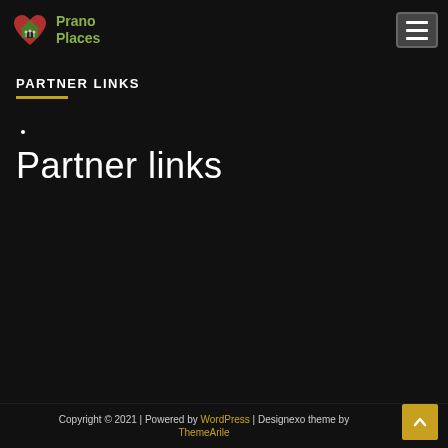[Figure (logo): Prano Places logo with heart and house icon in red and green, with green text 'Prano Places']
PARTNER LINKS
Partner links
Copyright © 2021 | Powered by WordPress | Designexo theme by ThemeArile